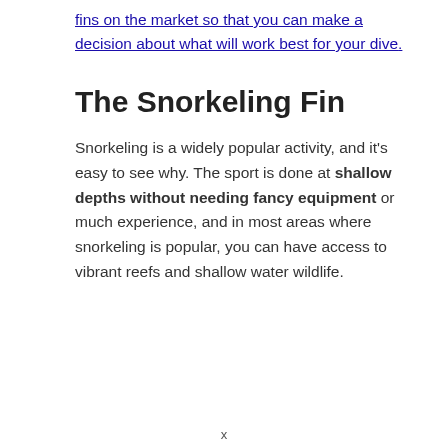fins on the market so that you can make a decision about what will work best for your dive.
The Snorkeling Fin
Snorkeling is a widely popular activity, and it's easy to see why. The sport is done at shallow depths without needing fancy equipment or much experience, and in most areas where snorkeling is popular, you can have access to vibrant reefs and shallow water wildlife.
x